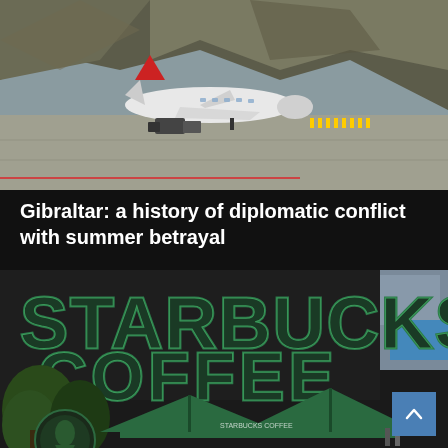[Figure (photo): Airplane on airport tarmac with rocky mountain/cliff face in background. Ground crew and vehicles visible. Likely Gibraltar Airport.]
Gibraltar: a history of diplomatic conflict with summer betrayal
[Figure (photo): Starbucks Coffee storefront sign with large green lettering on dark building facade. Green umbrellas and trees visible below. Starbucks logo visible at bottom left.]